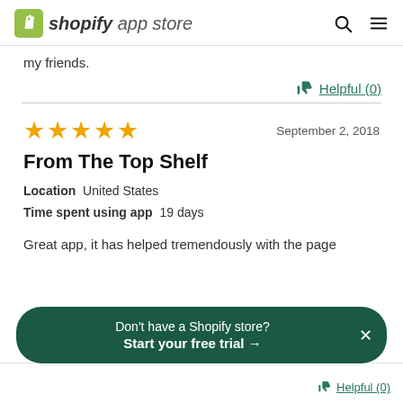shopify app store
my friends.
Helpful (0)
★★★★★   September 2, 2018
From The Top Shelf
Location  United States
Time spent using app  19 days
Great app, it has helped tremendously with the page
Don't have a Shopify store?
Start your free trial →
Helpful (0)